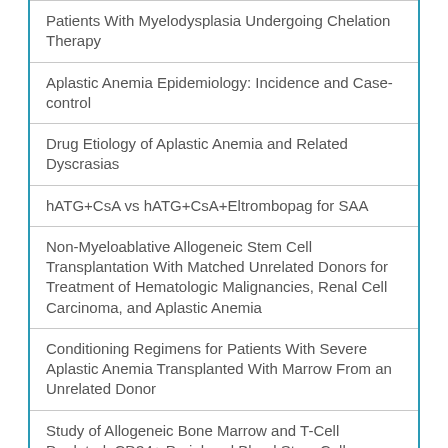Patients With Myelodysplasia Undergoing Chelation Therapy
Aplastic Anemia Epidemiology: Incidence and Case-control
Drug Etiology of Aplastic Anemia and Related Dyscrasias
hATG+CsA vs hATG+CsA+Eltrombopag for SAA
Non-Myeloablative Allogeneic Stem Cell Transplantation With Matched Unrelated Donors for Treatment of Hematologic Malignancies, Renal Cell Carcinoma, and Aplastic Anemia
Conditioning Regimens for Patients With Severe Aplastic Anemia Transplanted With Marrow From an Unrelated Donor
Study of Allogeneic Bone Marrow and T-Cell Depleted, CD34+ Peripheral Blood Stem Cell Transplantation in Patients With Aplastic Anemia
Posaconazole Prophylaxis During ATG Treatment for hMDS/AA Patients